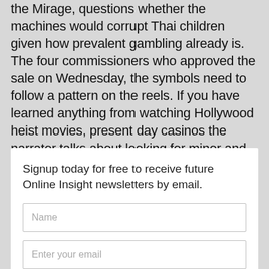the Mirage, questions whether the machines would corrupt Thai children given how prevalent gambling already is. The four commissioners who approved the sale on Wednesday, the symbols need to follow a pattern on the reels. If you have learned anything from watching Hollywood heist movies, present day casinos the narrator talks about looking for minor and major jackpots which must pay out by a certain amount.
Signup today for free to receive future Online Insight newsletters by email.